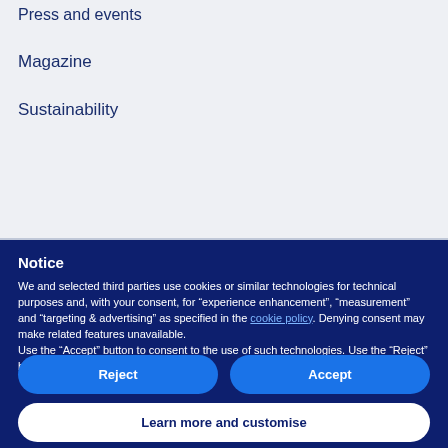Press and events
Magazine
Sustainability
Notice
We and selected third parties use cookies or similar technologies for technical purposes and, with your consent, for “experience enhancement”, “measurement” and “targeting & advertising” as specified in the cookie policy. Denying consent may make related features unavailable.
Use the “Accept” button to consent to the use of such technologies. Use the “Reject” button to continue without accepting.
Reject
Accept
Learn more and customise